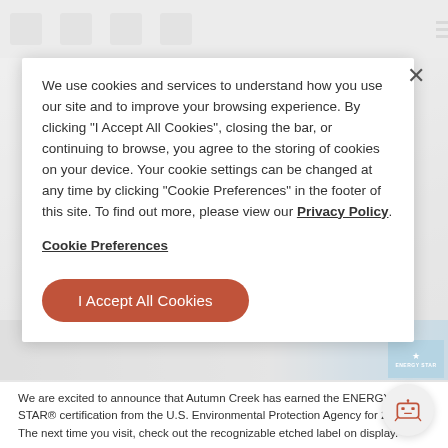[Figure (screenshot): Background of a website page with navigation bar icons and a muted/blurred appearance behind a cookie consent modal overlay.]
We use cookies and services to understand how you use our site and to improve your browsing experience. By clicking "I Accept All Cookies", closing the bar, or continuing to browse, you agree to the storing of cookies on your device. Your cookie settings can be changed at any time by clicking "Cookie Preferences" in the footer of this site. To find out more, please view our Privacy Policy.
Cookie Preferences
I Accept All Cookies
[Figure (photo): Partial background image strip showing a property/apartment scene with an ENERGY STAR badge in the lower right corner.]
We are excited to announce that Autumn Creek has earned the ENERGY STAR® certification from the U.S. Environmental Protection Agency for 2019! The next time you visit, check out the recognizable etched label on display.
Read more ›